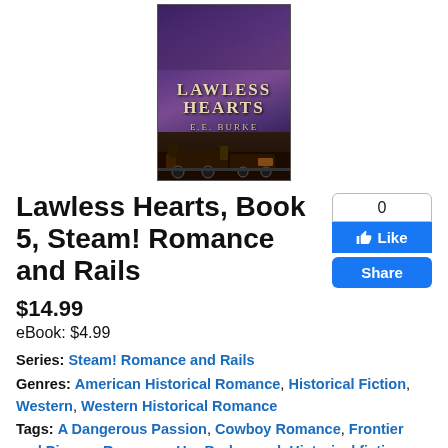[Figure (photo): Book cover of 'Lawless Hearts' by E.E. Burke, showing a figure in a dark coat against a purple/smoky background with a steam train below. Text on cover reads: LAWLESS HEARTS / E.E. BURKE]
Lawless Hearts, Book 5, Steam! Romance and Rails
$14.99
eBook: $4.99
Series: Steam! Romance and Rails
Genres: American Historical Romance, Historical Fiction, Western, Western Historical Romance
Tags: A Dangerous Passion, Cowboy Romance, Frontier and Pioneer Romance, Her Bodyguard, Historical fiction, Pinkerton, Redbird, Redbird, U.S.